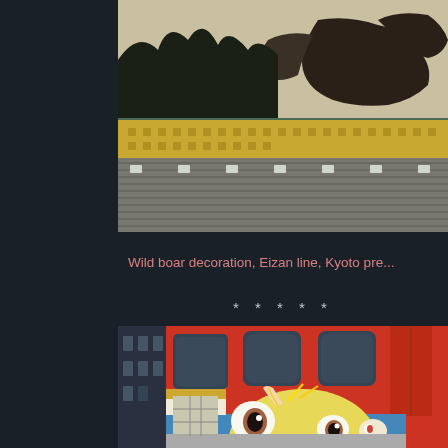[Figure (photo): Train platform with yellow tactile paving strip and wild boar decoration mural on the side of a train, Eizan line, Kyoto prefecture. View from platform level showing concrete platform surfaces and decorative artwork.]
Wild boar decoration, Eizan line, Kyoto pre...
* * * * *
[Figure (photo): Decorated train car on the Eizan line featuring colorful manga/anime character artwork on the exterior. The train is red with a blue stripe and features large cartoon character with big eyes painted on the side.]